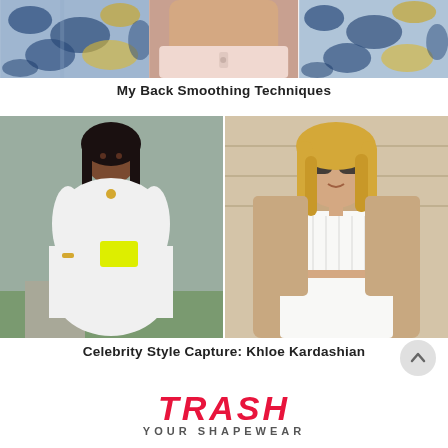[Figure (photo): Three photos: left - patterned fabric/dress in blue/yellow animal print, center - back of woman in light pink bandeau bra top, right - same blue/yellow animal print fabric]
My Back Smoothing Techniques
[Figure (photo): Left photo: plus-size African American woman in white crop top and white pencil skirt with neon yellow clutch, smiling outdoors. Right photo: blonde woman in white ribbed crop top and high-waist skirt with an open beige/tan coat, wearing sunglasses.]
Celebrity Style Capture: Khloe Kardashian
[Figure (logo): TRASH YOUR SHAPEWEAR logo in bold pink italic letters]